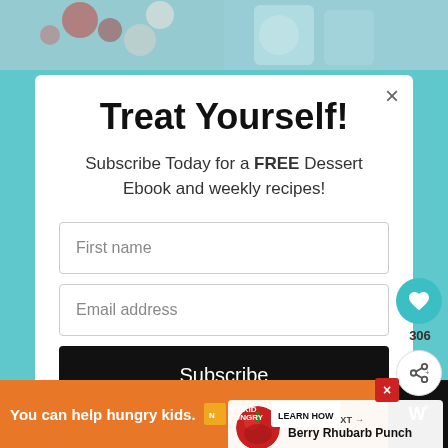[Figure (screenshot): Background teal color with partial food/dessert photos at top and a modal popup overlay. The modal has a white background with a subscription form.]
Treat Yourself!
Subscribe Today for a FREE Dessert Ebook and weekly recipes!
First name
Email address
Subscribe
WHAT'S NEXT → Berry Rhubarb Punch
You can help hungry kids. NO KID HUNGRY LEARN NOW